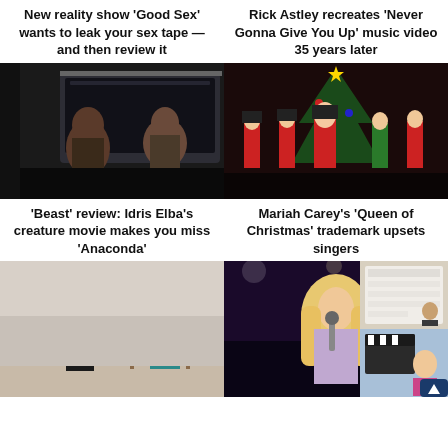New reality show ‘Good Sex’ wants to leak your sex tape — and then review it
Rick Astley recreates ‘Never Gonna Give You Up’ music video 35 years later
[Figure (photo): Two people interacting through a car window, dark cinematic scene]
[Figure (photo): Mariah Carey performing on stage in Christmas setting with dancers in red soldier costumes and a Christmas tree]
‘Beast’ review: Idris Elba’s creature movie makes you miss ‘Anaconda’
Mariah Carey’s ‘Queen of Christmas’ trademark upsets singers
[Figure (photo): Stage performance scene with woman in black dress and another person at a desk]
[Figure (photo): Young female singer with microphone and long blonde hair performing in sparkly outfit]
[Figure (photo): Small inset image - person with clapperboard on set]